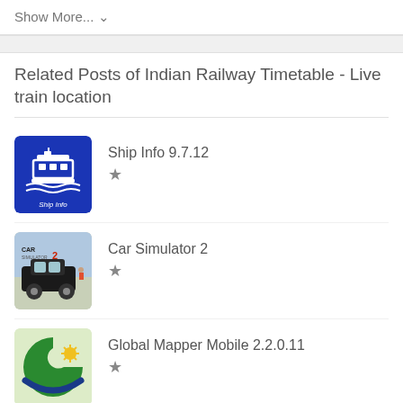Show More... ∨
Related Posts of Indian Railway Timetable - Live train location
Ship Info 9.7.12 ★
Car Simulator 2 ★
Global Mapper Mobile 2.2.0.11 ★